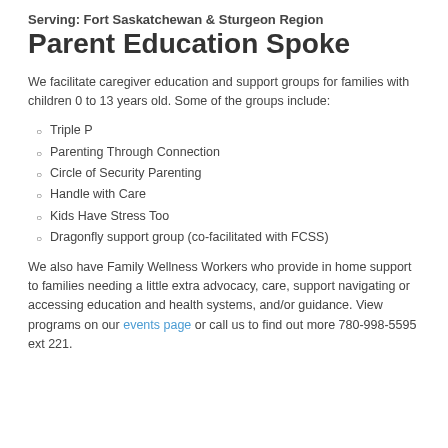Serving: Fort Saskatchewan & Sturgeon Region
Parent Education Spoke
We facilitate caregiver education and support groups for families with children 0 to 13 years old. Some of the groups include:
Triple P
Parenting Through Connection
Circle of Security Parenting
Handle with Care
Kids Have Stress Too
Dragonfly support group (co-facilitated with FCSS)
We also have Family Wellness Workers who provide in home support to families needing a little extra advocacy, care, support navigating or accessing education and health systems, and/or guidance. View programs on our events page or call us to find out more 780-998-5595 ext 221.